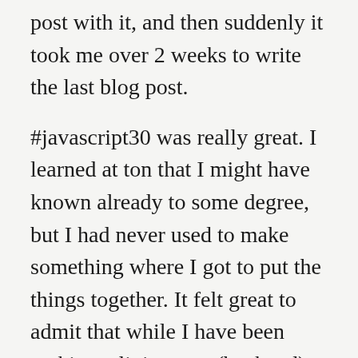post with it, and then suddenly it took me over 2 weeks to write the last blog post.
#javascript30 was really great. I learned at ton that I might have known already to some degree, but I had never used to make something where I got to put the things together. It felt great to admit that while I have been making a living as a (backend) programmer for well over 10 years, I was bad at Javascript. Admitting that made it easier for me to choose to follow a "simpler" course on JS instead of tripping myself up with trying to use a framework while pretending that I understood ES6, Webpack, and tons of other things at once. The course is really well